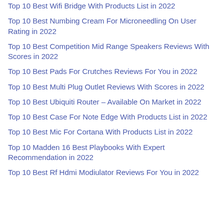Top 10 Best Wifi Bridge With Products List in 2022
Top 10 Best Numbing Cream For Microneedling On User Rating in 2022
Top 10 Best Competition Mid Range Speakers Reviews With Scores in 2022
Top 10 Best Pads For Crutches Reviews For You in 2022
Top 10 Best Multi Plug Outlet Reviews With Scores in 2022
Top 10 Best Ubiquiti Router – Available On Market in 2022
Top 10 Best Case For Note Edge With Products List in 2022
Top 10 Best Mic For Cortana With Products List in 2022
Top 10 Madden 16 Best Playbooks With Expert Recommendation in 2022
Top 10 Best Rf Hdmi Modiulator Reviews For You in 2022